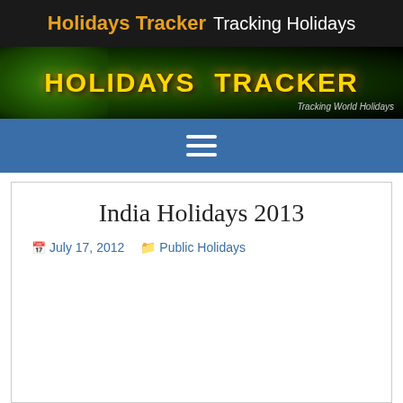Holidays Tracker Tracking Holidays
[Figure (screenshot): Holidays Tracker banner with yellow bold text on dark green background with fireworks, 'Tracking World Holidays' tagline on right]
[Figure (infographic): Navigation bar with hamburger menu icon (three white horizontal lines) on blue background]
India Holidays 2013
July 17, 2012   Public Holidays